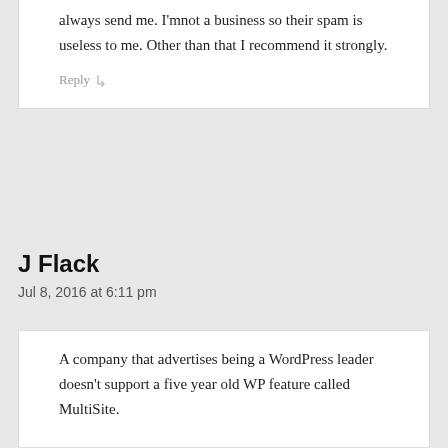always send me. I'mnot a business so their spam is useless to me. Other than that I recommend it strongly.
Reply ↳
J Flack
Jul 8, 2016 at 6:11 pm
A company that advertises being a WordPress leader doesn't support a five year old WP feature called MultiSite.
Each WP install uses a minimum of 5,000 files. If you have six or seven domains using WP, that's a setting of a whole lot of it...